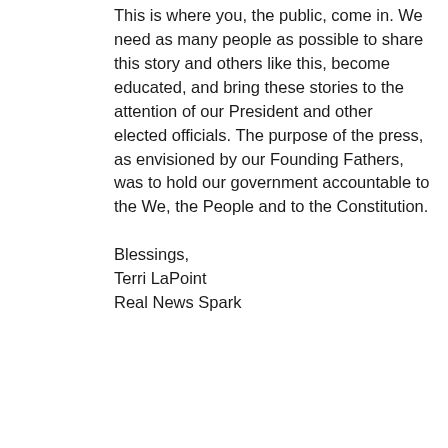This is where you, the public, come in. We need as many people as possible to share this story and others like this, become educated, and bring these stories to the attention of our President and other elected officials. The purpose of the press, as envisioned by our Founding Fathers, was to hold our government accountable to the We, the People and to the Constitution.
Blessings,
Terri LaPoint
Real News Spark
Like
REPLY
[Figure (illustration): Teal/turquoise diamond-pattern avatar icon for commenter Pam]
Pam